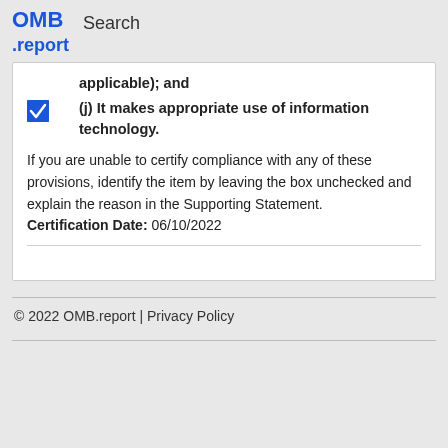OMB .report   Search
applicable); and
(j) It makes appropriate use of information technology.
If you are unable to certify compliance with any of these provisions, identify the item by leaving the box unchecked and explain the reason in the Supporting Statement.
Certification Date: 06/10/2022
© 2022 OMB.report | Privacy Policy